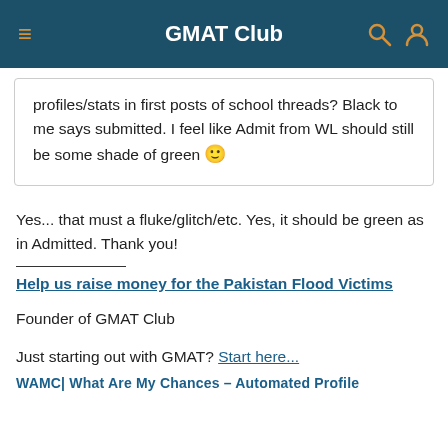GMAT Club
profiles/stats in first posts of school threads? Black to me says submitted. I feel like Admit from WL should still be some shade of green 🙂
Yes... that must a fluke/glitch/etc. Yes, it should be green as in Admitted. Thank you!
Help us raise money for the Pakistan Flood Victims
Founder of GMAT Club
Just starting out with GMAT? Start here...
WAMC| What Are My Chances – Automated Profile